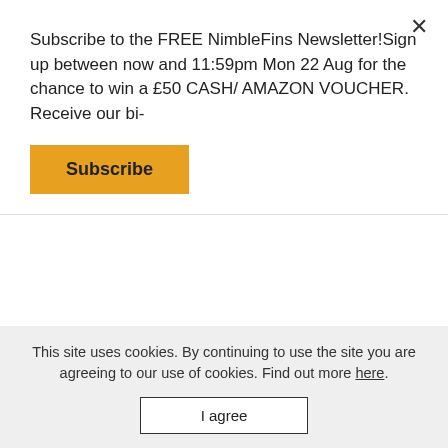Subscribe to the FREE NimbleFins Newsletter!Sign up between now and 11:59pm Mon 22 Aug for the chance to win a £50 CASH/ AMAZON VOUCHER. Receive our bi-
Subscribe
|  | Death and Loss | Overseas Travel | Boarding Fees/Holiday Cancellation |
| --- | --- | --- | --- |
| Dog | £23 | £14 | £14 |
| Cat | £12 | £5 | £5 |
This site uses cookies. By continuing to use the site you are agreeing to our use of cookies. Find out more here.
I agree